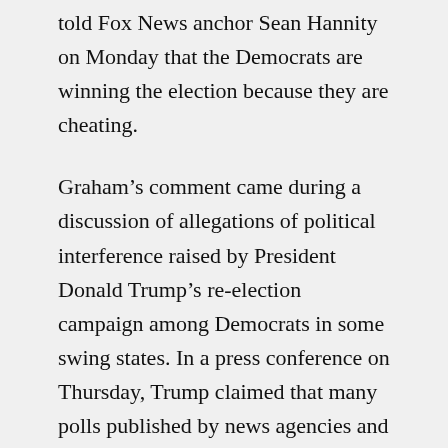told Fox News anchor Sean Hannity on Monday that the Democrats are winning the election because they are cheating.
Graham's comment came during a discussion of allegations of political interference raised by President Donald Trump's re-election campaign among Democrats in some swing states. In a press conference on Thursday, Trump claimed that many polls published by news agencies and social media sources about the election contained false information that kept Americans from voting. Graham claimed on Monday that the Conservatives were censored by social media platforms, making it difficult for them to explain their political stance.